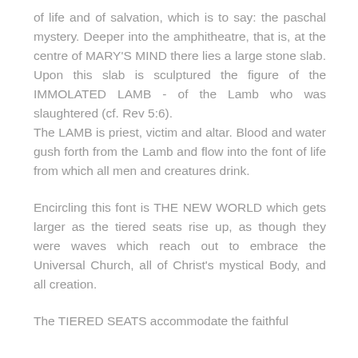of life and of salvation, which is to say: the paschal mystery. Deeper into the amphitheatre, that is, at the centre of MARY'S MIND there lies a large stone slab. Upon this slab is sculptured the figure of the IMMOLATED LAMB - of the Lamb who was slaughtered (cf. Rev 5:6).
The LAMB is priest, victim and altar. Blood and water gush forth from the Lamb and flow into the font of life from which all men and creatures drink.
Encircling this font is THE NEW WORLD which gets larger as the tiered seats rise up, as though they were waves which reach out to embrace the Universal Church, all of Christ's mystical Body, and all creation.
The TIERED SEATS accommodate the faithful